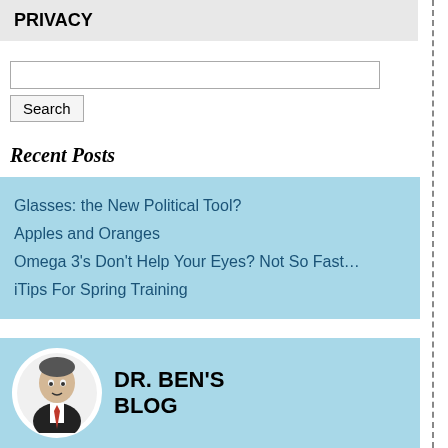PRIVACY
Search
Recent Posts
Glasses: the New Political Tool?
Apples and Oranges
Omega 3's Don't Help Your Eyes? Not So Fast…
iTips For Spring Training
DR. BEN'S BLOG
Posted in Dr. Ben's Blog, Eye H
Tweet